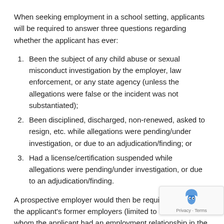When seeking employment in a school setting, applicants will be required to answer three questions regarding whether the applicant has ever:
Been the subject of any child abuse or sexual misconduct investigation by the employer, law enforcement, or any state agency (unless the allegations were false or the incident was not substantiated);
Been disciplined, discharged, non-renewed, asked to resign, etc. while allegations were pending/under investigation, or due to an adjudication/finding; or
Had a license/certification suspended while allegations were pending/under investigation, or due to an adjudication/finding.
A prospective employer would then be required to contact the applicant's former employers (limited to those with whom the applicant had an employment relationship in the previous 20 years) to ascertain whether the applicant's answers to the questions are accurate. If an applicant or previous employer provides an affirmative response to any of the questions, the prospective employer would need to follow up with the former